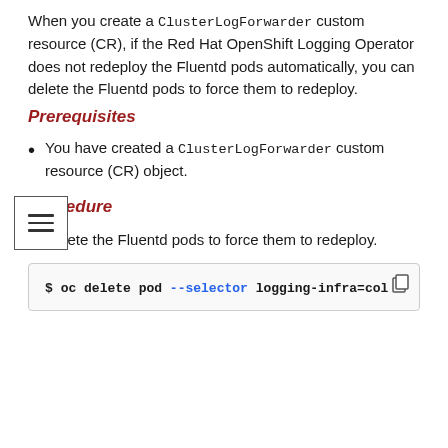When you create a ClusterLogForwarder custom resource (CR), if the Red Hat OpenShift Logging Operator does not redeploy the Fluentd pods automatically, you can delete the Fluentd pods to force them to redeploy.
Prerequisites
You have created a ClusterLogForwarder custom resource (CR) object.
Procedure
Delete the Fluentd pods to force them to redeploy.
$ oc delete pod --selector logging-infra=col